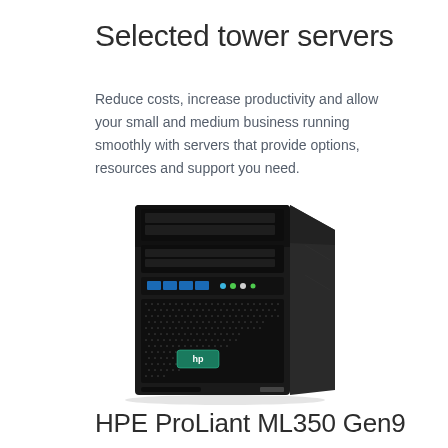Selected tower servers
Reduce costs, increase productivity and allow your small and medium business running smoothly with servers that provide options, resources and support you need.
[Figure (photo): HP ProLiant ML350 Gen9 tower server, black rectangular tower with ventilation grille, blue indicator lights, and HP logo badge on front panel]
HPE ProLiant ML350 Gen9